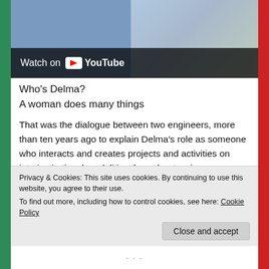[Figure (screenshot): YouTube video thumbnail showing two people, with 'Watch on YouTube' overlay banner at the bottom left.]
Who's Delma?
A woman does many things
That was the dialogue between two engineers, more than ten years ago to explain Delma's role as someone who interacts and creates projects and activities on interinstitutional modalities through art, science, technology and society fields. Specifically, the anecdote refers to InfoArt project, created and coordinated by her, as national project settled in public education that connected teachers training
Privacy & Cookies: This site uses cookies. By continuing to use this website, you agree to their use.
To find out more, including how to control cookies, see here: Cookie Policy
Close and accept